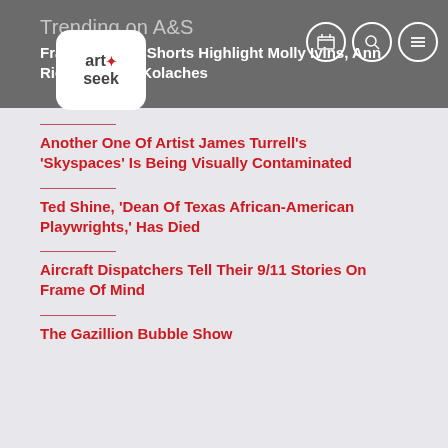Trending on A&S
Frame of Mind Shorts Highlight Molly Ivins, Ann Richards And Kolaches
Another One Of Artist James Turrell's 'Skyspaces' Is Being Visually Contaminated
Ted Shine, 'Dean Of Texas African-American Playwrights,' Has Died
Aircraft Dispatchers Tell Their 9/11 Stories On Frame Of Mind
The Gazillion Bubble Show